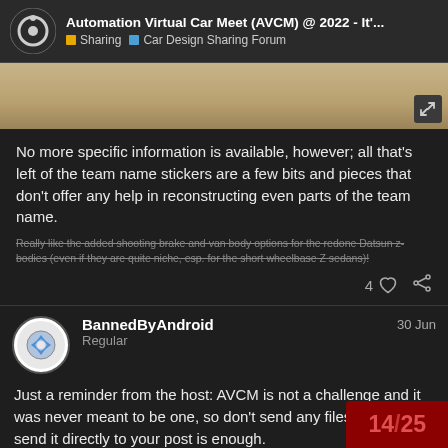Automation Virtual Car Meet (AVCM) @ 2022 - It'... | Sharing | Car Design Sharing Forum
[Figure (photo): Partial image of a textured beige/tan surface, with an expand icon in the bottom right corner]
No more specific information is available, however; all that's left of the team name stickers are a few bits and pieces that don't offer any help in reconstructing even parts of the team name.
Really like the added shooting brake and van body options for the redone Datsun z-bodies (even if they are quite niche, esp. for the short wheelbase Z sedans)!
BannedByAndroid  30 Jun
Regular
Just a reminder from the host: AVCM is not a challenge and it was never meant to be one, so don't send any files to me, just send it directly to your post is enough.
14 / 25